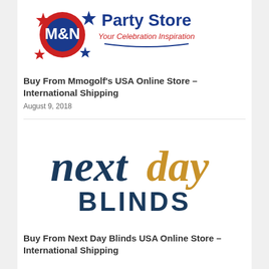[Figure (logo): M&N Party Store logo with colorful stars and text 'Your Celebration Inspiration']
Buy From Mmogolf's USA Online Store – International Shipping
August 9, 2018
[Figure (logo): Next Day Blinds logo with dark blue 'next' and gold 'day' in script, and dark blue 'BLINDS' in bold capitals]
Buy From Next Day Blinds USA Online Store – International Shipping